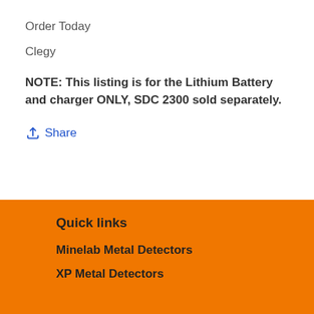Order Today
Clegy
NOTE: This listing is for the Lithium Battery and charger ONLY, SDC 2300 sold separately.
Share
Quick links
Minelab Metal Detectors
XP Metal Detectors